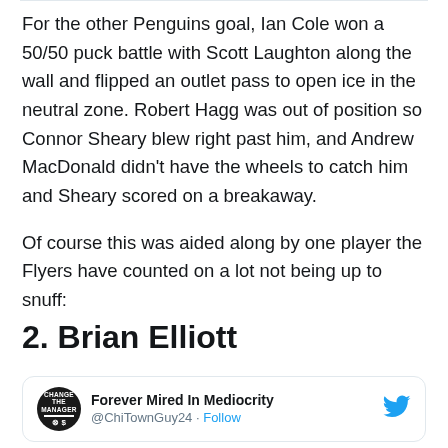For the other Penguins goal, Ian Cole won a 50/50 puck battle with Scott Laughton along the wall and flipped an outlet pass to open ice in the neutral zone. Robert Hagg was out of position so Connor Sheary blew right past him, and Andrew MacDonald didn't have the wheels to catch him and Sheary scored on a breakaway.
Of course this was aided along by one player the Flyers have counted on a lot not being up to snuff:
2. Brian Elliott
[Figure (screenshot): Tweet card from @ChiTownGuy24 (Forever Mired In Mediocrity) with a Follow button and Twitter bird logo]